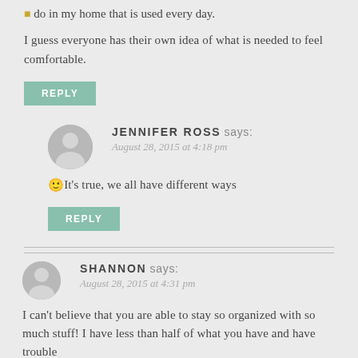do in my home that is used every day.
I guess everyone has their own idea of what is needed to feel comfortable.
REPLY
JENNIFER ROSS says: August 28, 2015 at 4:18 pm
🙂 It's true, we all have different ways
REPLY
SHANNON says: August 28, 2015 at 4:31 pm
I can't believe that you are able to stay so organized with so much stuff! I have less than half of what you have and have trouble